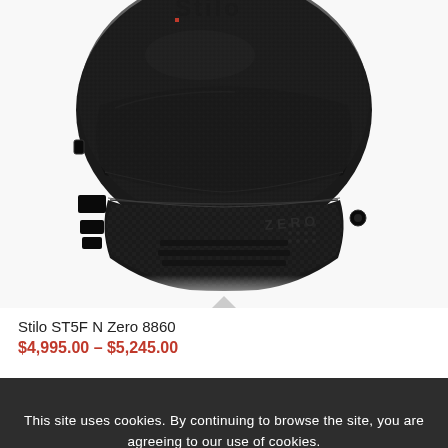[Figure (photo): Close-up photo of a black Stilo ST5F N Zero 8860 racing helmet with carbon fiber finish and dark visor, shown against a white background. The Stilo logo is visible at the top.]
Stilo ST5F N Zero 8860
$4,995.00 – $5,245.00
This site uses cookies. By continuing to browse the site, you are agreeing to our use of cookies.
OK
Learn more